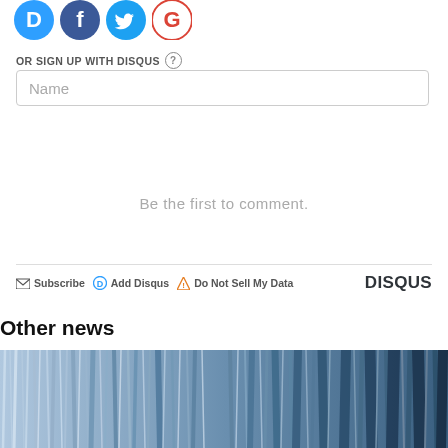[Figure (illustration): Social media sign-in icons: Disqus (blue D), Facebook (dark blue f), Twitter (light blue bird), Google (red G)]
OR SIGN UP WITH DISQUS ?
Name
Be the first to comment.
Subscribe  Add Disqus  Do Not Sell My Data  DISQUS
Other news
[Figure (photo): Blue and white abstract wave/streaked pattern image used as news thumbnail]